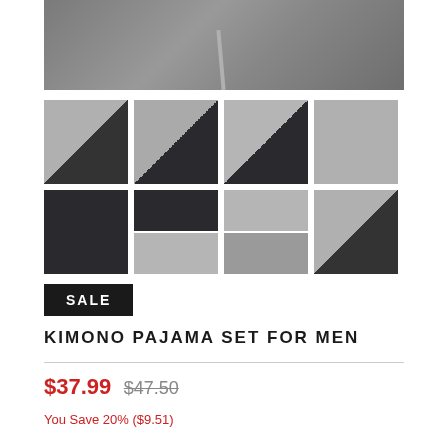[Figure (photo): Top hero image of folded gray kimono pajama set on white background]
[Figure (photo): Thumbnail grid of 8 product images showing kimono pajama set in gray and navy, folded and detail shots]
SALE
KIMONO PAJAMA SET FOR MEN
$37.99 $47.50
You Save 20% ($9.51)